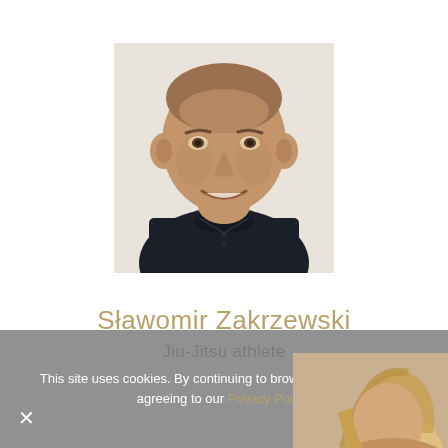[Figure (photo): Headshot photo of a middle-aged bald man wearing a dark polo shirt, smiling, photographed outdoors against a light background]
Sławomir Zakrzewski
Jiu-Jitsu athlete
This site uses cookies. By continuing to browse the site, you are agreeing to our Privacy Policy.
[Figure (photo): Partial image of a young woman with long blonde hair visible at the bottom right of the cookie banner]